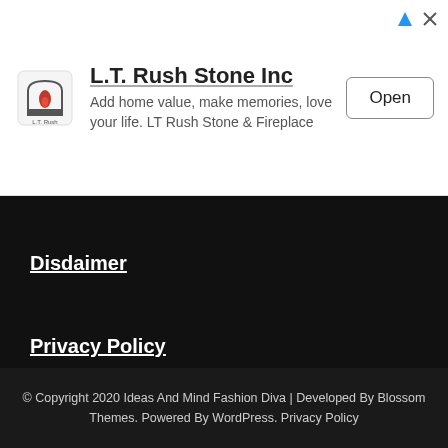[Figure (infographic): Advertisement banner for L.T. Rush Stone Inc with logo, text, and Open button]
Disclaimer
Privacy Policy
© Copyright 2020 Ideas And Mind Fashion Diva | Developed By Blossom Themes. Powered By WordPress. Privacy Policy